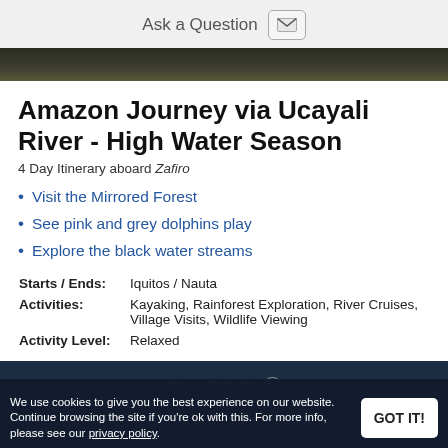Ask a Question
[Figure (photo): Dark nature/Amazon photo strip at top]
Amazon Journey via Ucayali River - High Water Season
4 Day Itinerary aboard Zafiro
Visit the Mirrored Forest
See pink and grey dolphins play
Explore the black water streams
| Starts / Ends: | Iquitos / Nauta |
| Activities: | Kayaking, Rainforest Exploration, River Cruises, Village Visits, Wildlife Viewing |
| Activity Level: | Relaxed |
Cruise Details:
We use cookies to give you the best experience on our website. Continue browsing the site if you’re ok with this. For more info, please see our privacy policy.
GOT IT!